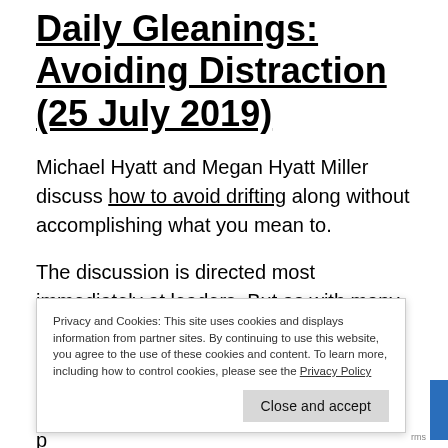Daily Gleanings: Avoiding Distraction (25 July 2019)
Michael Hyatt and Megan Hyatt Miller discuss how to avoid drifting along without accomplishing what you mean to.
The discussion is directed most immediately at leaders. But as with many such things, there a... t... c... p...
Privacy and Cookies: This site uses cookies and displays information from partner sites. By continuing to use this website, you agree to the use of these cookies and content. To learn more, including how to control cookies, please see the Privacy Policy
Close and accept